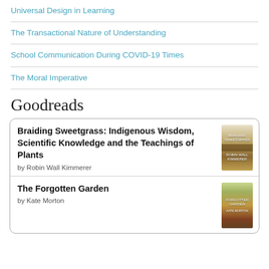Universal Design in Learning
The Transactional Nature of Understanding
School Communication During COVID-19 Times
The Moral Imperative
Goodreads
Braiding Sweetgrass: Indigenous Wisdom, Scientific Knowledge and the Teachings of Plants
by Robin Wall Kimmerer
The Forgotten Garden
by Kate Morton